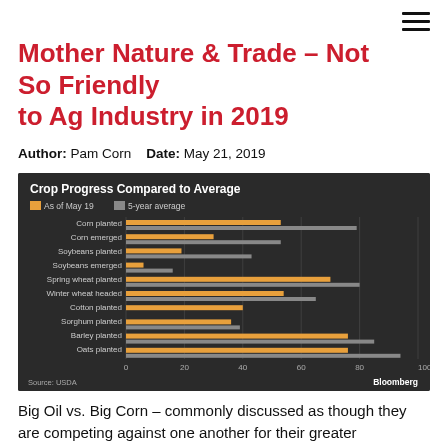Mother Nature & Trade – Not So Friendly to Ag Industry in 2019
Author: Pam Corn   Date: May 21, 2019
[Figure (grouped-bar-chart): Crop Progress Compared to Average]
Big Oil vs. Big Corn – commonly discussed as though they are competing against one another for their greater